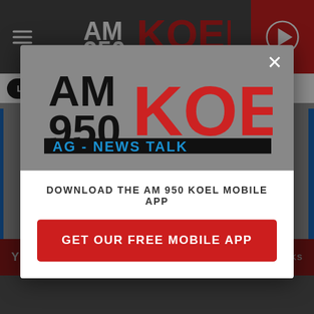[Figure (screenshot): AM 950 KOEL radio station website screenshot showing navigation bar with hamburger menu, station logo, and play button]
LISTEN NOW ▶  AM 950 KOEL
[Figure (logo): AM 950 KOEL AG - NEWS TALK logo displayed in modal popup]
DOWNLOAD THE AM 950 KOEL MOBILE APP
GET OUR FREE MOBILE APP
YOU MAY LIKE
SPONSORED LINKS